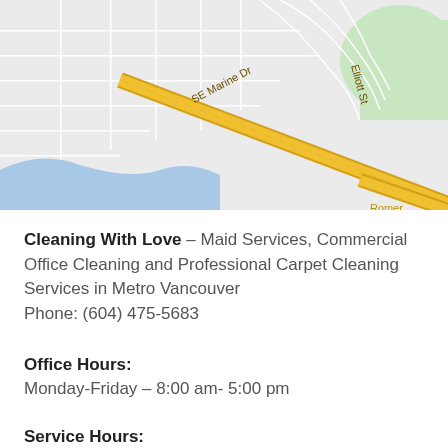[Figure (map): Google Maps screenshot showing SE Marine Dr and Elliott St in Metro Vancouver area, with yellow highway road, blue river/water feature, residential streets in light gray, and green park area in upper right corner.]
Cleaning With Love – Maid Services, Commercial Office Cleaning and Professional Carpet Cleaning Services in Metro Vancouver Phone: (604) 475-5683
Office Hours:
Monday-Friday – 8:00 am- 5:00 pm
Service Hours: